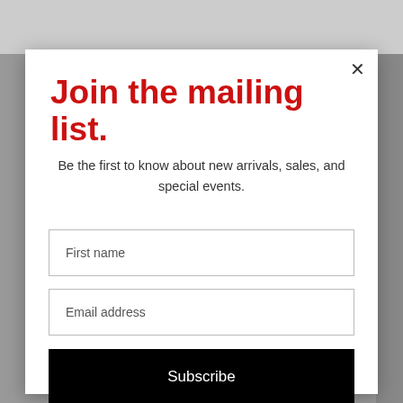[Figure (screenshot): Background showing website with photo grid and decorative dot pattern]
Join the mailing list.
Be the first to know about new arrivals, sales, and special events.
First name
Email address
Subscribe